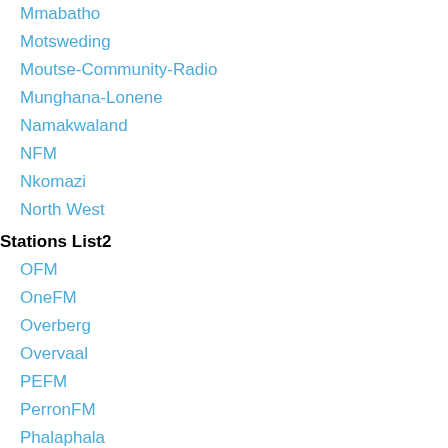Mmabatho
Motsweding
Moutse-Community-Radio
Munghana-Lonene
Namakwaland
NFM
Nkomazi
North West
Stations List2
OFM
OneFM
Overberg
Overvaal
PEFM
PerronFM
Phalaphala
PowerFM
PretoriaFM